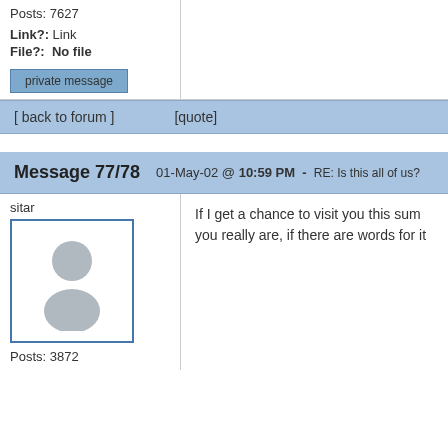Posts: 7627
Link?: Link
File?: No file
private message
[ back to forum ]    [quote]
Message 77/78   01-May-02 @ 10:59 PM - RE: Is this all of us?
sitar
[Figure (illustration): Default user avatar silhouette in a blue-bordered box]
Posts: 3872
If I get a chance to visit you this sum you really are, if there are words for it